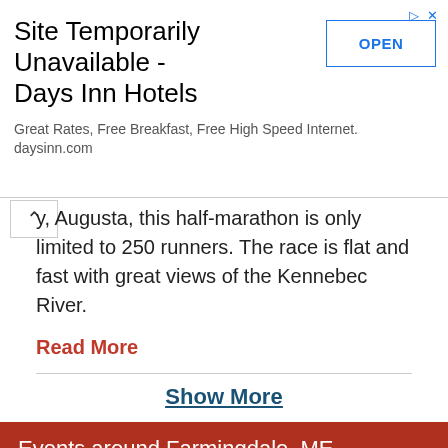[Figure (screenshot): Advertisement banner: Site Temporarily Unavailable - Days Inn Hotels. Great Rates, Free Breakfast, Free High Speed Internet. daysinn.com. With an OPEN button.]
y, Augusta, this half-marathon is only limited to 250 runners. The race is flat and fast with great views of the Kennebec River.
Read More
Show More
Events around Farmingdale, ME
AUG 25  Blistered Fingers Family Bluegrass Festival